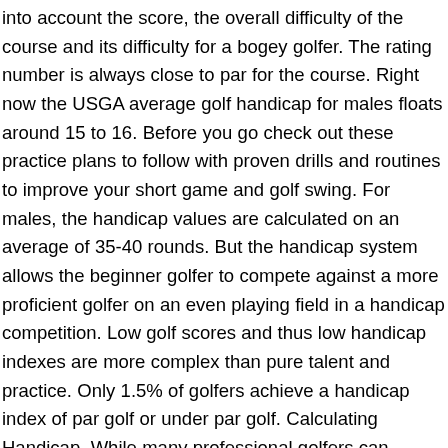into account the score, the overall difficulty of the course and its difficulty for a bogey golfer. The rating number is always close to par for the course. Right now the USGA average golf handicap for males floats around 15 to 16. Before you go check out these practice plans to follow with proven drills and routines to improve your short game and golf swing. For males, the handicap values are calculated on an average of 35-40 rounds. But the handicap system allows the beginner golfer to compete against a more proficient golfer on an even playing field in a handicap competition. Low golf scores and thus low handicap indexes are more complex than pure talent and practice. Only 1.5% of golfers achieve a handicap index of par golf or under par golf. Calculating Handicap. While many professional golfers can expect to regularly shoot rounds in the 60s, or on a bad day in the mid-70s, the average amateur usually is in for a much longer day. And the top 1% of golfers break 75. Take the average score and subtract the par of your golf course to determine your approximate handicap. Handicap is assessed by looking at the difference in players'